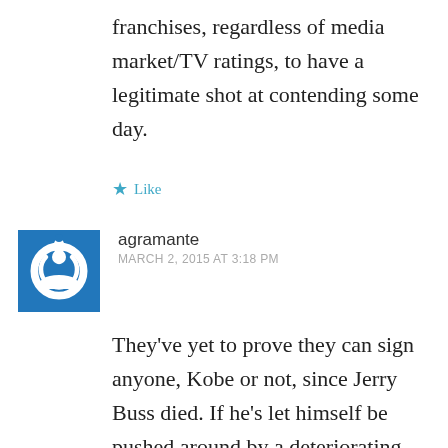franchises, regardless of media market/TV ratings, to have a legitimate shot at contending some day.
★ Like
agramante
MARCH 2, 2015 AT 3:18 PM
They've yet to prove they can sign anyone, Kobe or not, since Jerry Buss died. If he's let himself be pushed around by a deteriorating Kobe Bryant, it doesn't speak well to his business and hoops acumen going